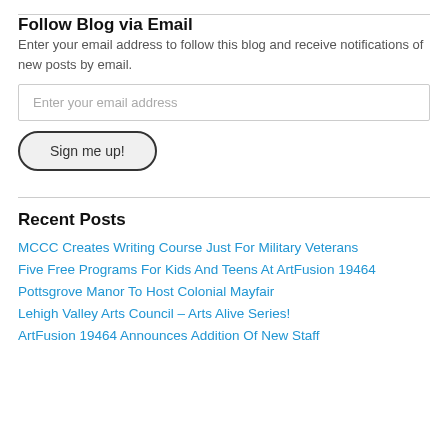Follow Blog via Email
Enter your email address to follow this blog and receive notifications of new posts by email.
Enter your email address
Sign me up!
Recent Posts
MCCC Creates Writing Course Just For Military Veterans
Five Free Programs For Kids And Teens At ArtFusion 19464
Pottsgrove Manor To Host Colonial Mayfair
Lehigh Valley Arts Council – Arts Alive Series!
ArtFusion 19464 Announces Addition Of New Staff